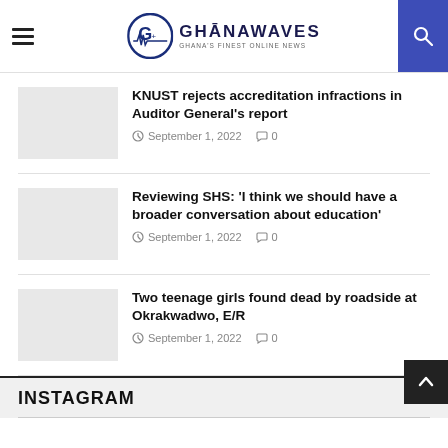GhanaWaves — Ghana's Finest Online News
KNUST rejects accreditation infractions in Auditor General's report
September 1, 2022   0
Reviewing SHS: 'I think we should have a broader conversation about education'
September 1, 2022   0
Two teenage girls found dead by roadside at Okrakwadwo, E/R
September 1, 2022   0
INSTAGRAM